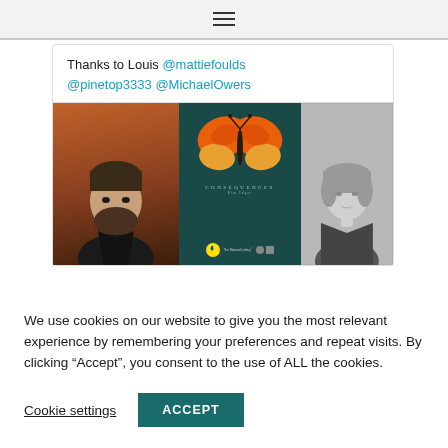[Figure (screenshot): Navigation bar with hamburger menu icon at top of page]
Thanks to Louis @mattiefoulds @pinetop3333 @MichaelOwers
[Figure (photo): Three-panel image: left panel shows a man with beard on orange-brown background, center panel shows a butterfly with text 'CONSEQUENCES Kim Edgar' and National Lottery logo, right panel shows a woman in black and white]
We use cookies on our website to give you the most relevant experience by remembering your preferences and repeat visits. By clicking “Accept”, you consent to the use of ALL the cookies.
Cookie settings
ACCEPT